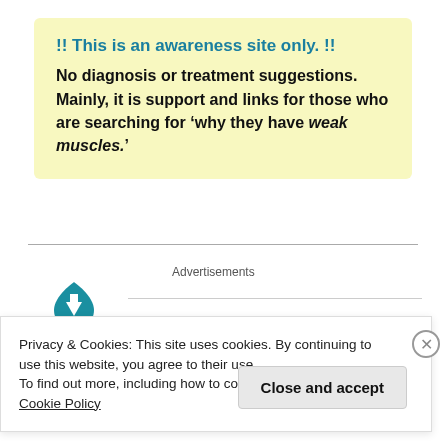!! This is an awareness site only. !!
No diagnosis or treatment suggestions. Mainly, it is support and links for those who are searching for ‘why they have weak muscles.’
Advertisements
Privacy & Cookies: This site uses cookies. By continuing to use this website, you agree to their use.
To find out more, including how to control cookies, see here: Cookie Policy
Close and accept